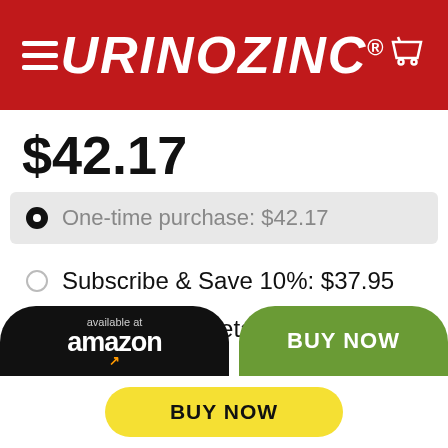URINOZINC®
$42.17
One-time purchase: $42.17
Subscribe & Save 10%: $37.95
Subscription details
available at amazon
BUY NOW
BUY NOW